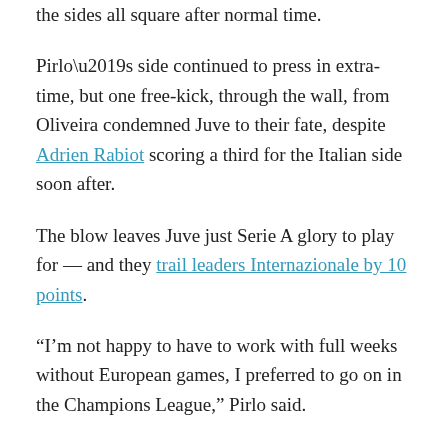the sides all square after normal time.
Pirlo’s side continued to press in extra-time, but one free-kick, through the wall, from Oliveira condemned Juve to their fate, despite Adrien Rabiot scoring a third for the Italian side soon after.
The blow leaves Juve just Serie A glory to play for — and they trail leaders Internazionale by 10 points.
“I’m not happy to have to work with full weeks without European games, I preferred to go on in the Champions League,” Pirlo said.
“To forget this elimination will take a few days but then we will have to look forward and try to move up the [Serie A] rankings.